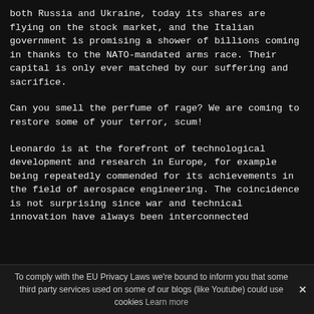both Russia and Ukraine, today its shares are flying on the stock market, and the Italian government is promising a shower of billions coming in thanks to the NATO-mandated arms race. Their capital is only ever matched by our suffering and sacrifice.
Can you smell the perfume of rage? We are coming to restore some of your terror, scum!
Leonardo is at the forefront of technological development and research in Europe, for example being repeatedly commended for its achievements in the field of aerospace engineering. The coincidence is not surprising since war and technical innovation have always been interconnected
To comply with the EU Privacy Laws we're bound to inform you that some third party services used on some of our blogs (like Youtube) could use cookies Learn more